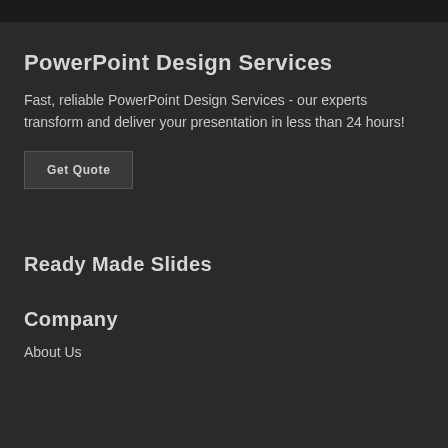PowerPoint Design Services
Fast, reliable PowerPoint Design Services - our experts transform and deliver your presentation in less than 24 hours!
Get Quote
Ready Made Slides
Company
About Us